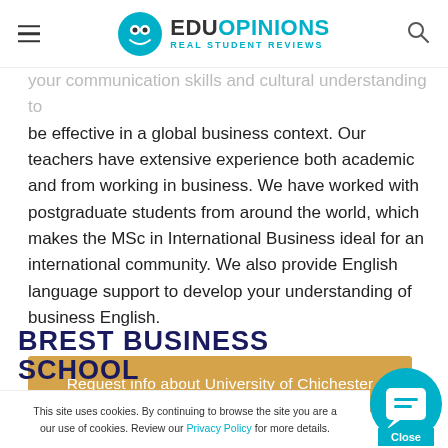EduOpinions — Real Student Reviews
your communication skills and cultural understanding to be effective in a global business context. Our teachers have extensive experience both academic and from working in business. We have worked with postgraduate students from around the world, which makes the MSc in International Business ideal for an international community. We also provide English language support to develop your understanding of business English.
Request info about University of Chichester
BREST BUSINESS SCHOOL
This site uses cookies. By continuing to browse the site you are agreeing to our use of cookies. Review our Privacy Policy for more details.